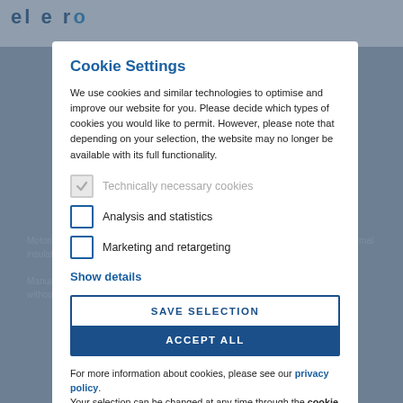Cookie Settings
We use cookies and similar technologies to optimise and improve our website for you. Please decide which types of cookies you would like to permit. However, please note that depending on your selection, the website may no longer be available with its full functionality.
Technically necessary cookies (checked, disabled)
Analysis and statistics
Marketing and retargeting
Show details
SAVE SELECTION
ACCEPT ALL
For more information about cookies, please see our privacy policy. Your selection can be changed at any time through the cookie